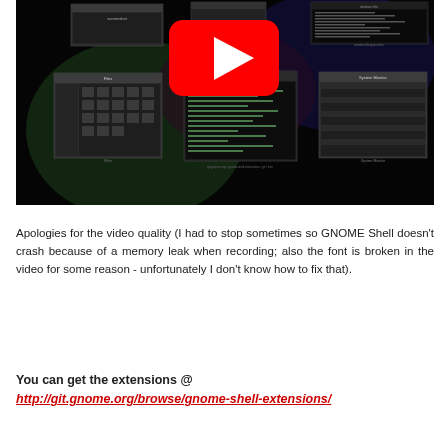[Figure (screenshot): YouTube video thumbnail showing a dark GNOME Shell desktop environment with multiple windows/panels visible and a large YouTube play button overlay in the center.]
Apologies for the video quality (I had to stop sometimes so GNOME Shell doesn't crash because of a memory leak when recording; also the font is broken in the video for some reason - unfortunately I don't know how to fix that).
You can get the extensions @ http://git.gnome.org/browse/gnome-shell-extensions/